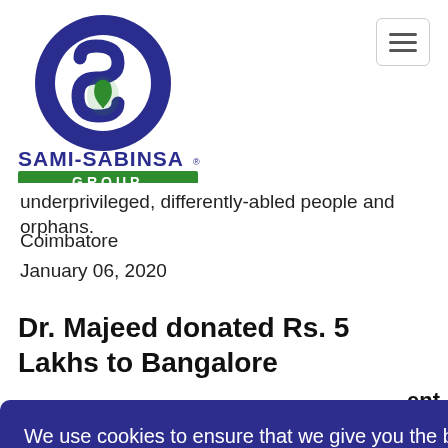[Figure (logo): Sami-Sabinsa Group logo with blue S and green leaf emblem, green banner with GROUP text]
underprivileged, differently-abled people and orphans.
Coimbatore
January 06, 2020
Dr. Majeed donated Rs. 5 Lakhs to Bangalore
ent
We use cookies to ensure that we give you the best experience on our website. For more details visit our Privacy Policy
I accept
ncer, Sami- nagar ai
hospital to support children fighting against cancer.